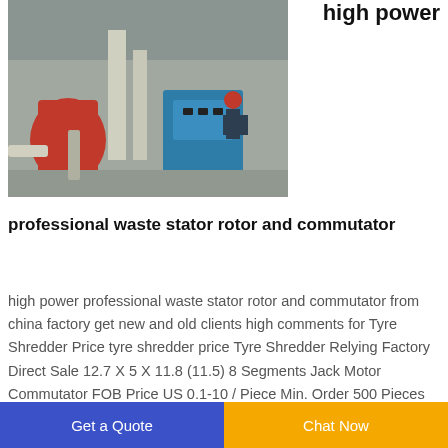[Figure (photo): Industrial machinery with a worker in a red helmet operating a control panel outdoors]
high power
professional waste stator rotor and commutator
high power professional waste stator rotor and commutator from china factory get new and old clients high comments for Tyre Shredder Price tyre shredder price Tyre Shredder Relying Factory Direct Sale 12.7 X 5 X 11.8 (11.5) 8 Segments Jack Motor Commutator FOB Price US 0.1-10 / Piece Min. Order 500 Pieces high comments for Tyre Shredder
Get a Quote | Chat Now